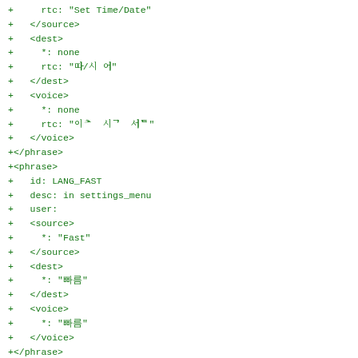Code diff showing YAML/XML phrase definitions with source, dest, and voice tags for localization entries including LANG_FAST and VOICE_EMPTY_LIST